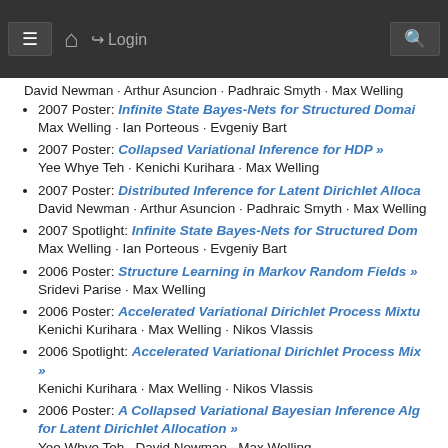Navigation bar with menu, home, login, search
David Newman · Arthur Asuncion · Padhraic Smyth · Max Welling
2007 Poster: Infinite State Bayes-Nets for Structured Domains »
Max Welling · Ian Porteous · Evgeniy Bart
2007 Poster: Collapsed Variational Inference for HDP »
Yee Whye Teh · Kenichi Kurihara · Max Welling
2007 Poster: Distributed Inference for Latent Dirichlet Alloca…
David Newman · Arthur Asuncion · Padhraic Smyth · Max Welling
2007 Spotlight: Infinite State Bayes-Nets for Structured Dom…
Max Welling · Ian Porteous · Evgeniy Bart
2006 Poster: Structure Learning in Markov Random Fields »
Sridevi Parise · Max Welling
2006 Poster: Accelerated Variational Dirichlet Process Mixtu…
Kenichi Kurihara · Max Welling · Nikos Vlassis
2006 Spotlight: Accelerated Variational Dirichlet Process Mix… »
Kenichi Kurihara · Max Welling · Nikos Vlassis
2006 Poster: A Collapsed Variational Bayesian Inference Alg… for Latent Dirichlet Allocation »
Yee Whye Teh · David Newman · Max Welling